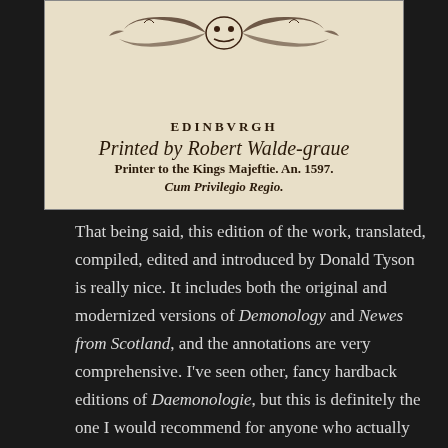[Figure (photo): Photograph of an old book title page showing 'Edinburgh, Printed by Robert Walde-graue, Printer to the Kings Majestie. An. 1597. Cum Privilegio Regio.' with decorative woodcut ornament at top.]
That being said, this edition of the work, translated, compiled, edited and introduced by Donald Tyson is really nice. It includes both the original and modernized versions of Demonology and Newes from Scotland, and the annotations are very comprehensive. I've seen other, fancy hardback editions of Daemonologie, but this is definitely the one I would recommend for anyone who actually intends to read and comprehend the text. I'm